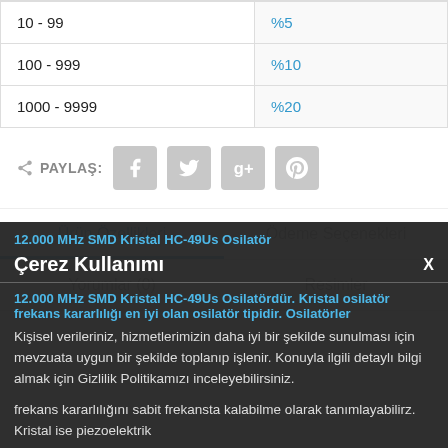| 10 - 99 | %5 |
| 100 - 999 | %10 |
| 1000 - 9999 | %20 |
PAYLAŞ: [Facebook] [Twitter] [Google+] [Pinterest]
Ürün Özellikleri | Ödeme Seçenekleri
Yorumlar (0) | Resimler
12.000 MHz SMD Kristal HC-49Us Osilatör
Çerez Kullanımı
12.000 MHz SMD Kristal HC-49Us Osilatördür. Kristal osilatör frekans kararlılığı en iyi olan osilatör tipidir. Osilatörler
Kişisel verileriniz, hizmetlerimizin daha iyi bir şekilde sunulması için mevzuata uygun bir şekilde toplanıp işlenir. Konuyla ilgili detaylı bilgi almak için Gizlilik Politikamızı inceleyebilirsiniz.
frekans kararlılığını sabit frekansta kalabilme olarak tanımlayabilirz. Kristal ise piezoelektrik